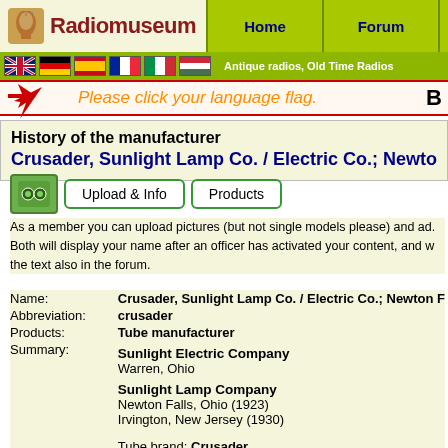Radiomuseum | Home | Forum | Papers | Antique radios, Old Time Radios
Please click your language flag.
History of the manufacturer
Crusader, Sunlight Lamp Co. / Electric Co.; Newton
As a member you can upload pictures (but not single models please) and ad. Both will display your name after an officer has activated your content, and w the text also in the forum.
| Field | Value |
| --- | --- |
| Name: | Crusader, Sunlight Lamp Co. / Electric Co.; Newton F |
| Abbreviation: | crusader |
| Products: | Tube manufacturer |
| Summary: |  |
|  | Sunlight Electric Company
Warren, Ohio |
|  | Sunlight Lamp Company
Newton Falls, Ohio (1923)
Irvington, New Jersey (1930) |
|  | Tube brand: Crusader |